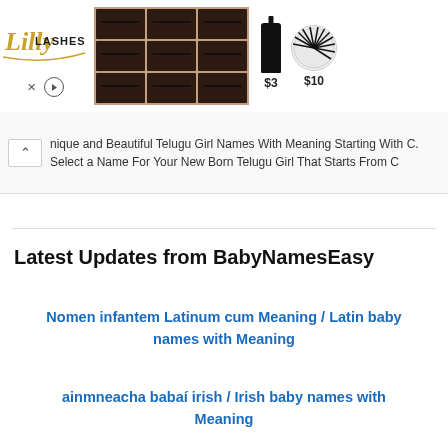[Figure (photo): Lilly Lashes advertisement banner showing logo, eyelash product grid, mascara ($3), and eyelash ($10)]
nique and Beautiful Telugu Girl Names With Meaning Starting With C. Select a Name For Your New Born Telugu Girl That Starts From C
Latest Updates from BabyNamesEasy
Nomen infantem Latinum cum Meaning / Latin baby names with Meaning
ainmneacha babaí irish / Irish baby names with Meaning